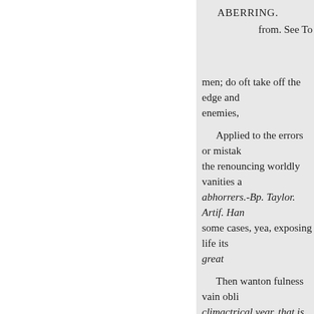ABERRING.
from. See To
men; do oft take off the edge and enemies,
Applied to the errors or mistakes the renouncing worldly vanities a abhorrers.-Bp. Taylor. Artif. Han some cases, yea, exposing life its great
Then wanton fulness vain obli climactrical year, that is, sixty-th
And God, that made and sav'd and others might be out in their a Barrow. Ser. vol. iii. 8.2. wayes f mov'd the Lord.
Parnell. Gift of Poetry. What i year, which perhaps might be an